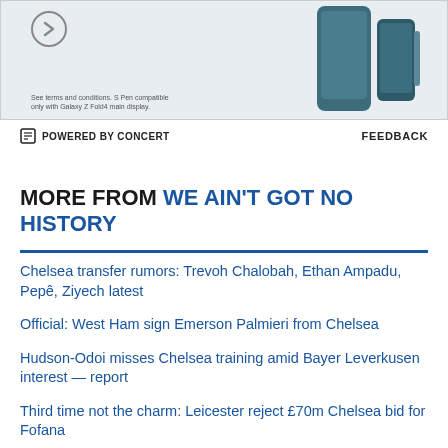[Figure (photo): Advertisement banner showing a Samsung Galaxy Z Fold4 phone with S Pen, partial view with arrow button and fine print text]
POWERED BY CONCERT   FEEDBACK
MORE FROM WE AIN'T GOT NO HISTORY
Chelsea transfer rumors: Trevoh Chalobah, Ethan Ampadu, Pepê, Ziyech latest
Official: West Ham sign Emerson Palmieri from Chelsea
Hudson-Odoi misses Chelsea training amid Bayer Leverkusen interest — report
Third time not the charm: Leicester reject £70m Chelsea bid for Fofana
Leeds United 3-0 Chelsea, Premier League: Not great, Bob!
Chelsea 'prepared' to offer £60m to Everton for Anthony Gordon — report